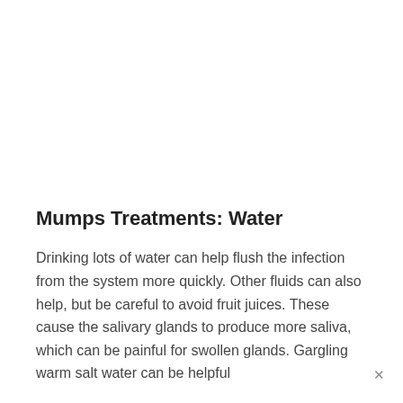Mumps Treatments: Water
Drinking lots of water can help flush the infection from the system more quickly. Other fluids can also help, but be careful to avoid fruit juices. These cause the salivary glands to produce more saliva, which can be painful for swollen glands. Gargling warm salt water can be helpful